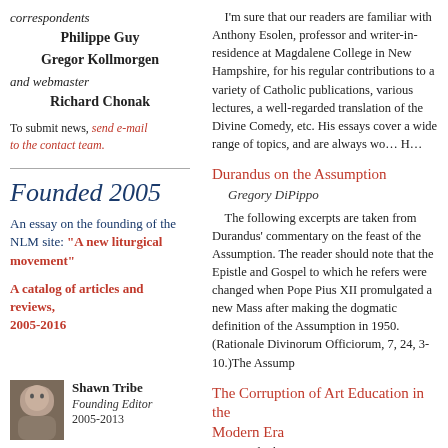correspondents
Philippe Guy
Gregor Kollmorgen
and webmaster
Richard Chonak
To submit news, send e-mail to the contact team.
Founded 2005
An essay on the founding of the NLM site: "A new liturgical movement"
A catalog of articles and reviews, 2005-2016
[Figure (photo): Photo of Shawn Tribe, Founding Editor]
Shawn Tribe
Founding Editor
2005-2013
I'm sure that our readers are familiar with Anthony Esolen, professor and writer-in-residence at Magdalene College in New Hampshire, for his regular contributions to a variety of Catholic publications, various lectures, a well-regarded translation of the Divine Comedy, etc. His essays cover a wide range of topics, and are always wo... H...
Durandus on the Assumption
Gregory DiPippo
The following excerpts are taken from Durandus' commentary on the feast of the Assumption. The reader should note that the Epistle and Gospel to which he refers were changed when Pope Pius XII promulgated a new Mass after making the dogmatic definition of the Assumption in 1950. (Rationale Divinorum Officiorum, 7, 24, 3-10.)The Assump
The Corruption of Art Education in the Modern Era
David Clayton